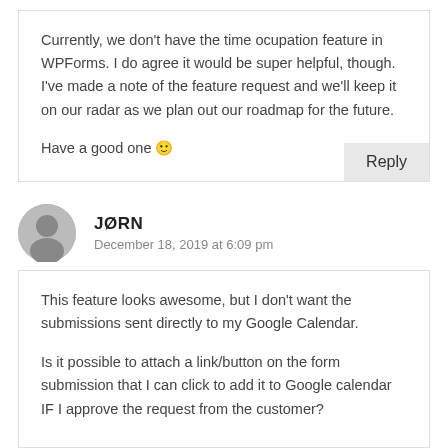Currently, we don't have the time ocupation feature in WPForms. I do agree it would be super helpful, though. I've made a note of the feature request and we'll keep it on our radar as we plan out our roadmap for the future.

Have a good one 🙂
Reply
JØRN
December 18, 2019 at 6:09 pm
This feature looks awesome, but I don't want the submissions sent directly to my Google Calendar.

Is it possible to attach a link/button on the form submission that I can click to add it to Google calendar IF I approve the request from the customer?